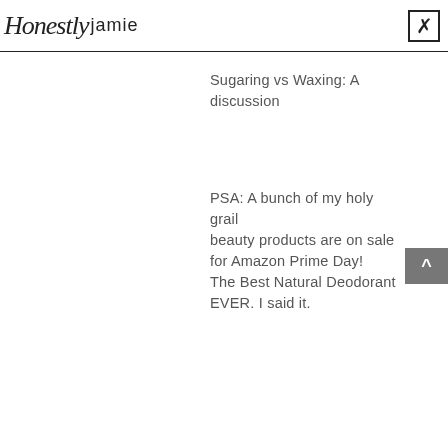Honestly Jamie
Sugaring vs Waxing: A discussion
PSA: A bunch of my holy grail beauty products are on sale for Amazon Prime Day!
The Best Natural Deodorant EVER. I said it.